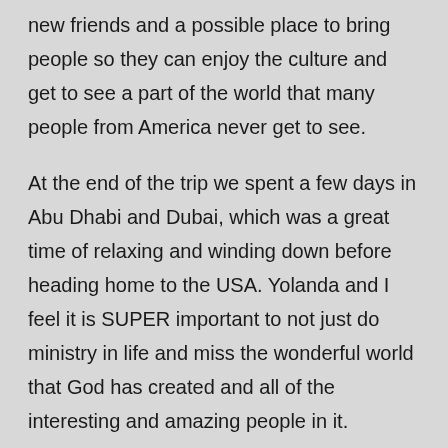new friends and a possible place to bring people so they can enjoy the culture and get to see a part of the world that many people from America never get to see.
At the end of the trip we spent a few days in Abu Dhabi and Dubai, which was a great time of relaxing and winding down before heading home to the USA. Yolanda and I feel it is SUPER important to not just do ministry in life and miss the wonderful world that God has created and all of the interesting and amazing people in it.